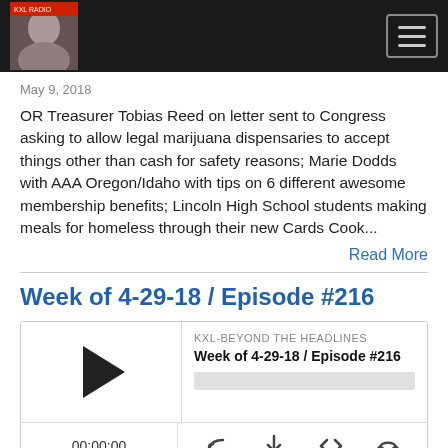KXL Beyond the Headlines podcast navigation bar
May 9, 2018
OR Treasurer Tobias Reed on letter sent to Congress asking to allow legal marijuana dispensaries to accept things other than cash for safety reasons; Marie Dodds with AAA Oregon/Idaho with tips on 6 different awesome membership benefits; Lincoln High School students making meals for homeless through their new Cards Cook...
Read More
Week of 4-29-18 / Episode #216
[Figure (other): Audio podcast player widget showing KXL-BEYOND THE HEADLINES, Week of 4-29-18 / Episode #216, with play button, progress bar, time display 00:00:00, and control icons]